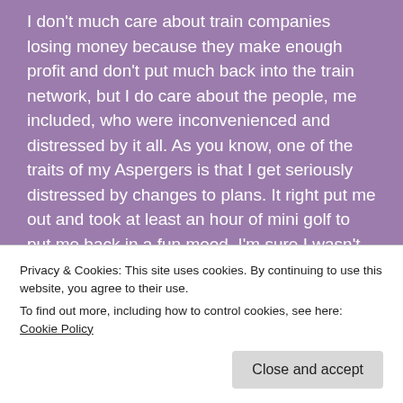I don't much care about train companies losing money because they make enough profit and don't put much back into the train network, but I do care about the people, me included, who were inconvenienced and distressed by it all. As you know, one of the traits of my Aspergers is that I get seriously distressed by changes to plans. It right put me out and took at least an hour of mini golf to put me back in a fun mood. I'm sure I wasn't the only one; people were desperate to get to work, or home,
Privacy & Cookies: This site uses cookies. By continuing to use this website, you agree to their use.
To find out more, including how to control cookies, see here: Cookie Policy